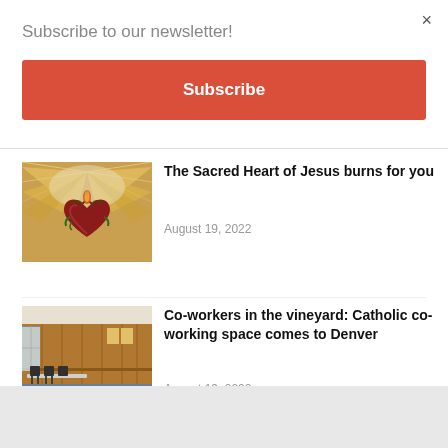Subscribe to our newsletter!
× (close button)
Subscribe
[Figure (photo): Mosaic image of the Sacred Heart of Jesus with golden rays and a crowned heart]
The Sacred Heart of Jesus burns for you
August 19, 2022
[Figure (photo): Interior photo of a Catholic co-working space showing tables, chairs, and wood-paneled walls]
Co-workers in the vineyard: Catholic co-working space comes to Denver
August 19, 2022